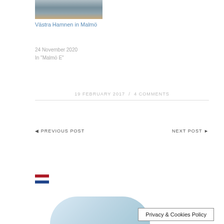[Figure (photo): Photograph of Västra Hamnen waterfront in Malmö, showing a concrete pier/breakwater with buildings in the background]
Västra Hamnen in Malmö
24 November 2020
In "Malmö E"
19 FEBRUARY 2017 / 4 COMMENTS
◄ PREVIOUS POST
NEXT POST ►
[Figure (illustration): Netherlands flag icon]
[Figure (photo): Partial bottom image, light blue curved shape]
Privacy & Cookies Policy